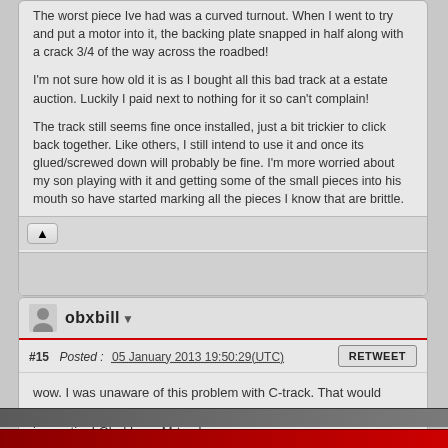The worst piece Ive had was a curved turnout. When I went to try and put a motor into it, the backing plate snapped in half along with a crack 3/4 of the way across the roadbed!
I'm not sure how old it is as I bought all this bad track at a estate auction. Luckily I paid next to nothing for it so can't complain!
The track still seems fine once installed, just a bit trickier to click back together. Like others, I still intend to use it and once its glued/screwed down will probably be fine. I'm more worried about my son playing with it and getting some of the small pieces into his mouth so have started marking all the pieces I know that are brittle.
obxbill
#15  Posted :  05 January 2013 19:50:29(UTC)
wow. I was unaware of this problem with C-track. That would surely make you not want to buy used track without a close inspection! Glad I use M-track.